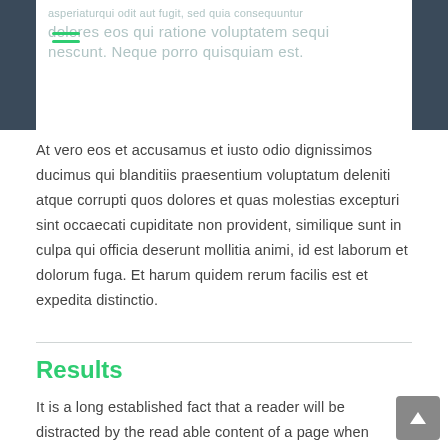asperiaturqui odit aut fugit, sed quia consequuntur dolores eos qui ratione voluptatem sequi nescunt. Neque porro quisquiam est.
At vero eos et accusamus et iusto odio dignissimos ducimus qui blanditiis praesentium voluptatum deleniti atque corrupti quos dolores et quas molestias excepturi sint occaecati cupiditate non provident, similique sunt in culpa qui officia deserunt mollitia animi, id est laborum et dolorum fuga. Et harum quidem rerum facilis est et expedita distinctio.
Results
It is a long established fact that a reader will be distracted by the read able content of a page when